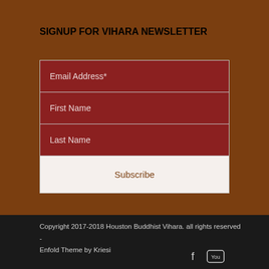SIGNUP FOR VIHARA NEWSLETTER
Email Address*
First Name
Last Name
Subscribe
Copyright 2017-2018 Houston Buddhist Vihara. all rights reserved - Enfold Theme by Kriesi